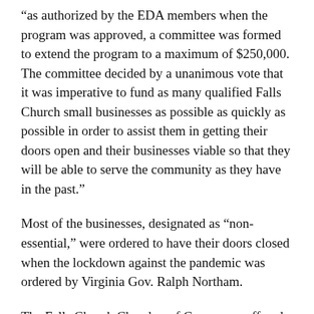“as authorized by the EDA members when the program was approved, a committee was formed to extend the program to a maximum of $250,000. The committee decided by a unanimous vote that it was imperative to fund as many qualified Falls Church small businesses as possible as quickly as possible in order to assist them in getting their doors open and their businesses viable so that they will be able to serve the community as they have in the past.”
Most of the businesses, designated as “non-essential,” were ordered to have their doors closed when the lockdown against the pandemic was ordered by Virginia Gov. Ralph Northam.
The Falls Church Chamber of Commerce offered its assistance to help get the word out about the EDA’s program.